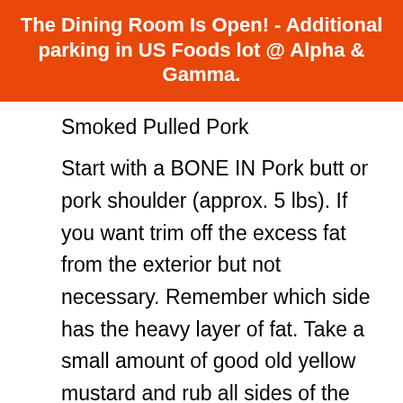The Dining Room Is Open! - Additional parking in US Foods lot @ Alpha & Gamma.
Smoked Pulled Pork
Start with a BONE IN Pork butt or pork shoulder (approx. 5 lbs). If you want trim off the excess fat from the exterior but not necessary. Remember which side has the heavy layer of fat. Take a small amount of good old yellow mustard and rub all sides of the butt. Use your favorite bbq dry rub or the recipe below and sprinkle